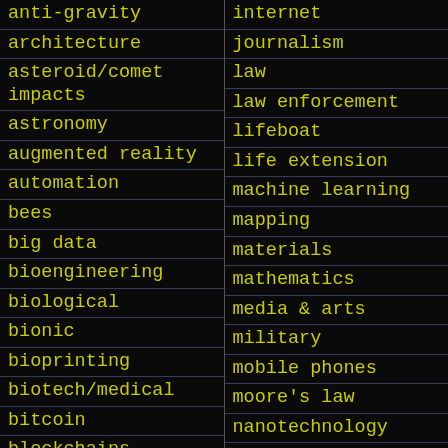anti-gravity
architecture
asteroid/comet impacts
astronomy
augmented reality
automation
bees
big data
bioengineering
biological
bionic
bioprinting
biotech/medical
bitcoin
blockchains
business
chemistry
climatology
internet
journalism
law
law enforcement
lifeboat
life extension
machine learning
mapping
materials
mathematics
media & arts
military
mobile phones
moore's law
nanotechnology
neuroscience
nuclear